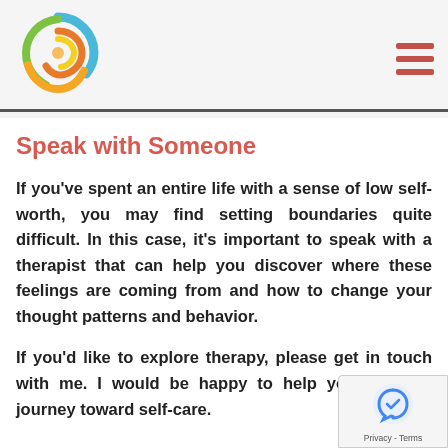[Figure (logo): Colorful swirl logo with blue, green, orange, and yellow colors]
Speak with Someone
If you've spent an entire life with a sense of low self-worth, you may find setting boundaries quite difficult. In this case, it's important to speak with a therapist that can help you discover where these feelings are coming from and how to change your thought patterns and behavior.
If you'd like to explore therapy, please get in touch with me. I would be happy to help you on your journey toward self-care.